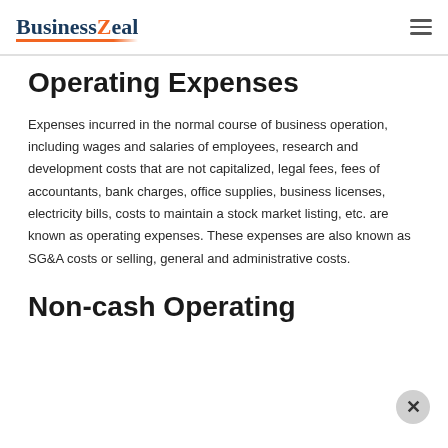BusinessZeal
Operating Expenses
Expenses incurred in the normal course of business operation, including wages and salaries of employees, research and development costs that are not capitalized, legal fees, fees of accountants, bank charges, office supplies, business licenses, electricity bills, costs to maintain a stock market listing, etc. are known as operating expenses. These expenses are also known as SG&A costs or selling, general and administrative costs.
Non-cash Operating